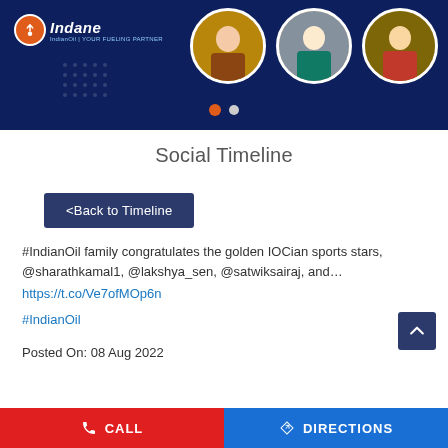[Figure (screenshot): Indane (IndianOil) branded banner with logo on dark navy blue background, showing three circular photo frames with people cooking, slider navigation dots at bottom]
Social Timeline
<Back to Timeline
#IndianOil family congratulates the golden IOCian sports stars, @sharathkamal1, @lakshya_sen, @satwiksairaj, and…
https://t.co/Ve7ofMOp6n

#IndianOil
Posted On: 08 Aug 2022